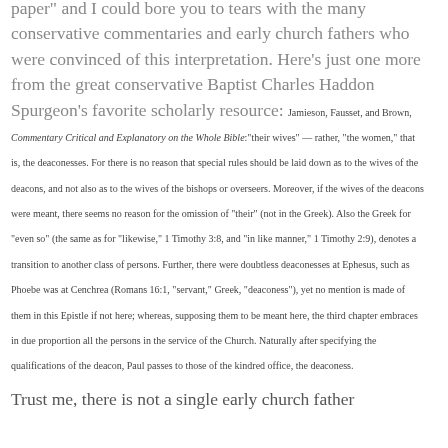paper" and I could bore you to tears with the many conservative commentaries and early church fathers who were convinced of this interpretation. Here's just one more from the great conservative Baptist Charles Haddon Spurgeon's favorite scholarly resource: Jamieson, Fausset, and Brown, Commentary Critical and Explanatory on the Whole Bible:"their wives" — rather, "the women," that is, the deaconesses. For there is no reason that special rules should be laid down as to the wives of the deacons, and not also as to the wives of the bishops or overseers. Moreover, if the wives of the deacons were meant, there seems no reason for the omission of "their" (not in the Greek). Also the Greek for "even so" (the same as for "likewise," 1 Timothy 3:8, and "in like manner," 1 Timothy 2:9), denotes a transition to another class of persons. Further, there were doubtless deaconesses at Ephesus, such as Phoebe was at Cenchrea (Romans 16:1, "servant," Greek, "deaconess"), yet no mention is made of them in this Epistle if not here; whereas, supposing them to be meant here, the third chapter embraces in due proportion all the persons in the service of the Church. Naturally after specifying the qualifications of the deacon, Paul passes to those of the kindred office, the deaconess.
Trust me, there is not a single early church father